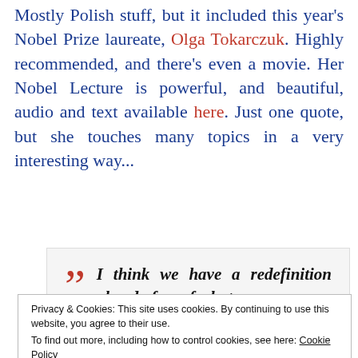Mostly Polish stuff, but it included this year's Nobel Prize laureate, Olga Tokarczuk. Highly recommended, and there's even a movie. Her Nobel Lecture is powerful, and beautiful, audio and text available here. Just one quote, but she touches many topics in a very interesting way...
“” I think we have a redefinition ahead of us of what we
Privacy & Cookies: This site uses cookies. By continuing to use this website, you agree to their use. To find out more, including how to control cookies, see here: Cookie Policy
ego and penetrate the glass